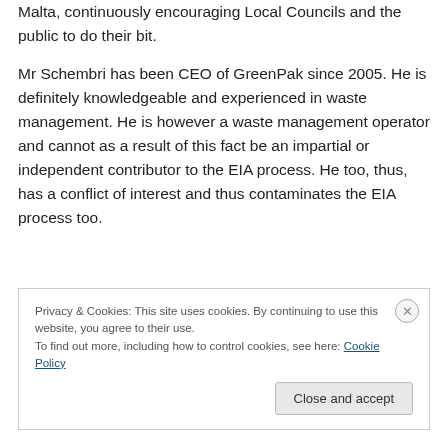Malta, continuously encouraging Local Councils and the public to do their bit.
Mr Schembri has been CEO of GreenPak since 2005. He is definitely knowledgeable and experienced in waste management. He is however a waste management operator and cannot as a result of this fact be an impartial or independent contributor to the EIA process. He too, thus, has a conflict of interest and thus contaminates the EIA process too.
Privacy & Cookies: This site uses cookies. By continuing to use this website, you agree to their use. To find out more, including how to control cookies, see here: Cookie Policy